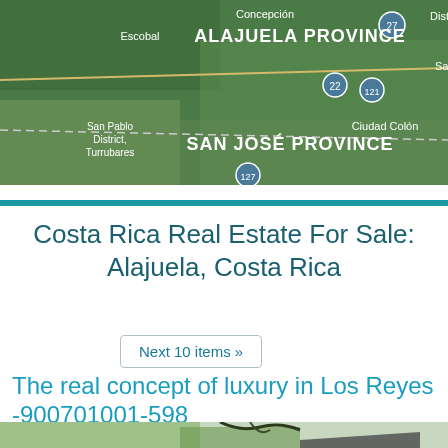[Figure (map): Satellite map showing Alajuela Province and San José Province in Costa Rica, with labels for Concepción, Escobal, San Pablo District/Turrubares, Ciudad Colón, and road numbers 22, 121, 127]
Costa Rica Real Estate For Sale: Alajuela, Costa Rica
Next 10 items »
The real concept of luxury in Los Reyes -900701001-598
[Figure (photo): Partial view of a property listing photo showing trees and a building rooftop]